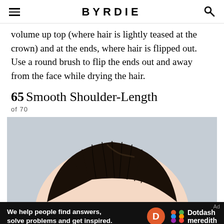BYRDIE
volume up top (where hair is lightly teased at the crown) and at the ends, where hair is flipped out. Use a round brush to flip the ends out and away from the face while drying the hair.
65 Smooth Shoulder-Length
of 70
[Figure (photo): Close-up top-of-head view of a person with smooth, straight dark shoulder-length hair against a light gray background.]
We help people find answers, solve problems and get inspired.